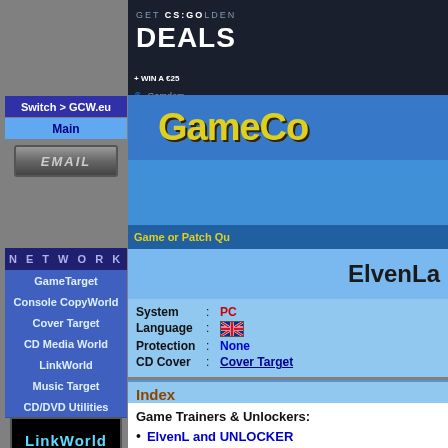[Figure (screenshot): CS:GO Golden Deals advertisement banner with Gamdom branding on dark background]
[Figure (logo): GameCopy.eu logo with yellow stylized text on blue background]
Switch > GCW.eu
Main
[Figure (logo): EMAIL button graphic]
NETWORK
GameTarget
Console CopyWorld
Cover Target
CD Media World
LinkWorld
Music Target
CD/DVD Utilities
[Figure (logo): LinkWorld Games logo]
Game or Patch Qu
ElvenLa
| Field | Sep | Value |
| --- | --- | --- |
| System | : | PC |
| Language | : | (UK flag) |
| Protection | : | None |
| CD Cover | : | Cover Target |
Index
Game Trainers & Unlockers:
ElvenL and UNLOCKER